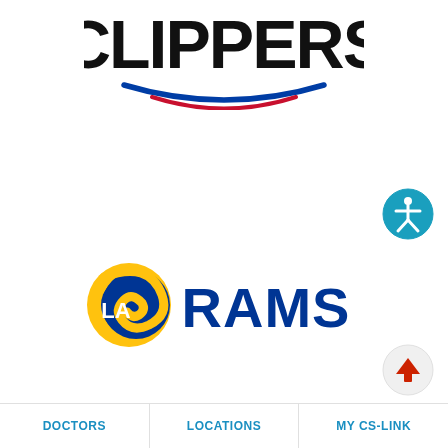[Figure (logo): LA Clippers logo — bold black text 'CLIPPERS' with a blue arc and a red arc beneath, NBA team branding]
[Figure (other): Accessibility icon — circular teal button with white person/accessibility symbol in center]
[Figure (logo): LA Rams logo — blue and gold ram horn emblem with 'LA RAMS' in bold blue text, NFL team branding]
[Figure (other): Scroll-to-top button — circular light gray button with a red upward arrow]
DOCTORS | LOCATIONS | MY CS-LINK